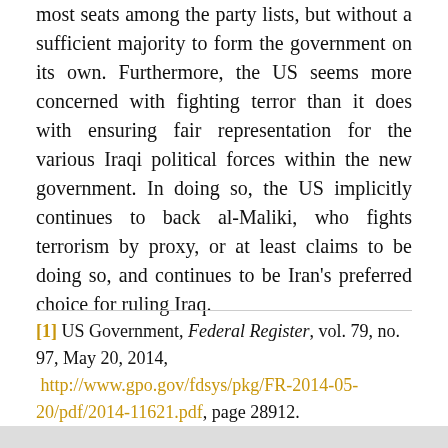most seats among the party lists, but without a sufficient majority to form the government on its own. Furthermore, the US seems more concerned with fighting terror than it does with ensuring fair representation for the various Iraqi political forces within the new government. In doing so, the US implicitly continues to back al-Maliki, who fights terrorism by proxy, or at least claims to be doing so, and continues to be Iran's preferred choice for ruling Iraq.
[1] US Government, Federal Register, vol. 79, no. 97, May 20, 2014, http://www.gpo.gov/fdsys/pkg/FR-2014-05-20/pdf/2014-11621.pdf, page 28912.